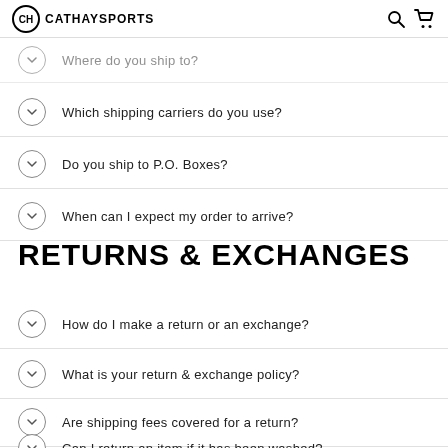CATHAYSPORTS
Where do you ship to?
Which shipping carriers do you use?
Do you ship to P.O. Boxes?
When can I expect my order to arrive?
RETURNS & EXCHANGES
How do I make a return or an exchange?
What is your return & exchange policy?
Are shipping fees covered for a return?
Can I return an item if it has been washed?